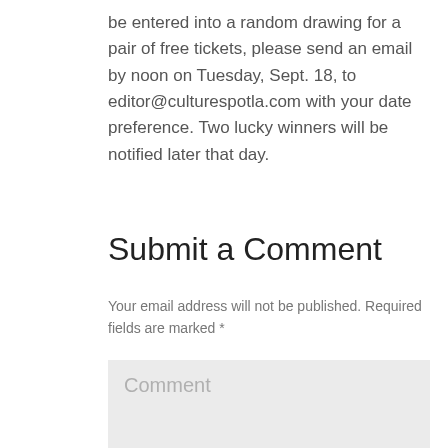be entered into a random drawing for a pair of free tickets, please send an email by noon on Tuesday, Sept. 18, to editor@culturespotla.com with your date preference. Two lucky winners will be notified later that day.
Submit a Comment
Your email address will not be published. Required fields are marked *
[Figure (other): Comment text input box with placeholder text 'Comment']